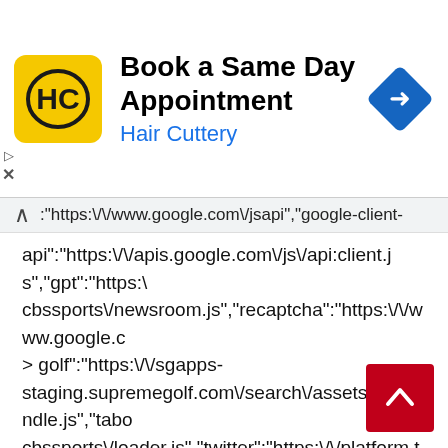[Figure (screenshot): Advertisement banner for Hair Cuttery - Book a Same Day Appointment, with HC logo on yellow background and blue navigation arrow icon]
Book a Same Day Appointment
Hair Cuttery
:"https:\/\/www.google.com\/jsapi","google-client-api":"https:\/\/apis.google.com\/js\/api:client.js","gpt":"https:\/cbssports\/newsroom.js","recaptcha":"https:\/\/www.google.conload=loadRecaptcha&render=explicit","recaptcha_ajax":"htgolf":"https:\/\/sgapps-staging.supremegolf.com\/search\/assets\/js\/bundle.js","tabocbssports\/loader.js","twitter":"https:\/\/platform.twitter.comavia":"https:\/\/vidtech.cbsinteractive.com\/avia-js\/1.14.0\/player\/avia.min.js","video-avia-ui":"https:\/\/vidtech.cbsinteractive.com\/avia-js\/1.14.0\/plugins\/ui\/avia.ui.min.js","video-avia-gam":"https:\/\/vidtech.cbsinteractive.com\/avia-js\/1.14.0\/plugins\/gam\/avia.gam.min.js","video-ima3":"https:\/\/imasdk.googleapis.com\/js\/sdkloader\/ima3ima3-